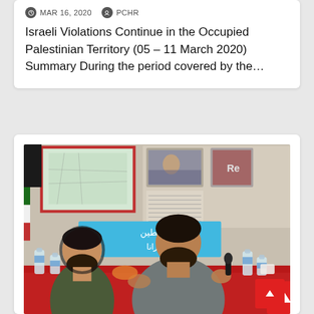MAR 16, 2020   PCHR
Israeli Violations Continue in the Occupied Palestinian Territory (05 – 11 March 2020) Summary During the period covered by the…
[Figure (photo): Two men seated at a red-tablecloth table at a panel discussion. The man on the right holds a microphone and gestures while speaking. Behind them is a wall with maps and photos, and a blue Arabic-language banner. Water bottles are on the table. A red scroll-to-top button is in the bottom-right corner.]